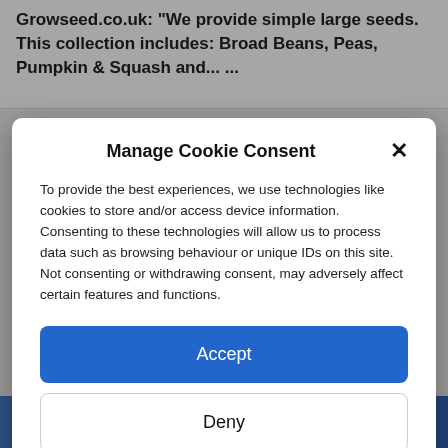Growseed.co.uk: "We provide simple large seeds. This collection includes: Broad Beans, Peas, Pumpkin & Squash and... ...
Manage Cookie Consent
To provide the best experiences, we use technologies like cookies to store and/or access device information. Consenting to these technologies will allow us to process data such as browsing behaviour or unique IDs on this site. Not consenting or withdrawing consent, may adversely affect certain features and functions.
Accept
Deny
View preferences
Cookie Policy   Privacy & Cookie Policy, Terms of Use